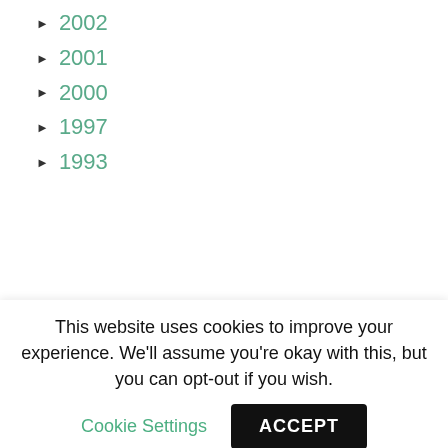► 2002
► 2001
► 2000
► 1997
► 1993
JOIN OUR MAILINGS
[Figure (logo): Partial logo with white text on dark green background]
This website uses cookies to improve your experience. We'll assume you're okay with this, but you can opt-out if you wish.
Cookie Settings
ACCEPT